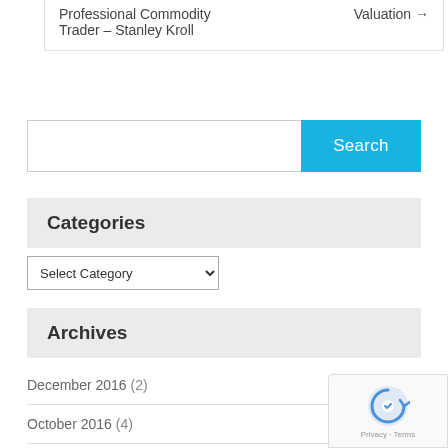Professional Commodity Trader – Stanley Kroll
Valuation →
[Figure (other): Search input field with blue Search button]
Categories
[Figure (other): Select Category dropdown]
Archives
December 2016 (2)
October 2016 (4)
September 2016 (1)
August 2016 (2)
July 2016 (1)